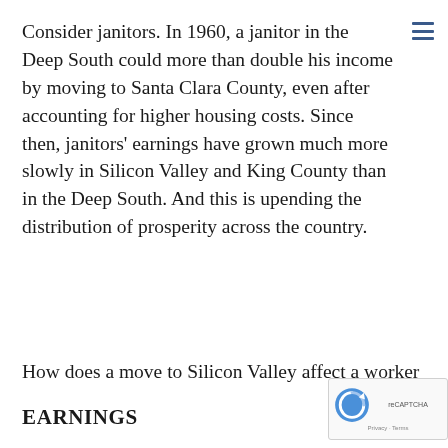Consider janitors. In 1960, a janitor in the Deep South could more than double his income by moving to Santa Clara County, even after accounting for higher housing costs. Since then, janitors' earnings have grown much more slowly in Silicon Valley and King County than in the Deep South. And this is upending the distribution of prosperity across the country.
How does a move to Silicon Valley affect a worker
EARNINGS